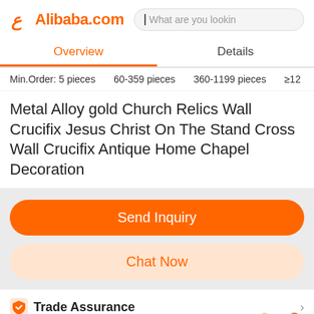Alibaba.com
Overview | Details
Min.Order: 5 pieces   60-359 pieces   360-1199 pieces   ≥12
Metal Alloy gold Church Relics Wall Crucifix Jesus Christ On The Stand Cross Wall Crucifix Antique Home Chapel Decoration
Send Inquiry
Chat Now
Trade Assurance
Built-in order protection service in alibaba.com
Product quality   On-time shipment